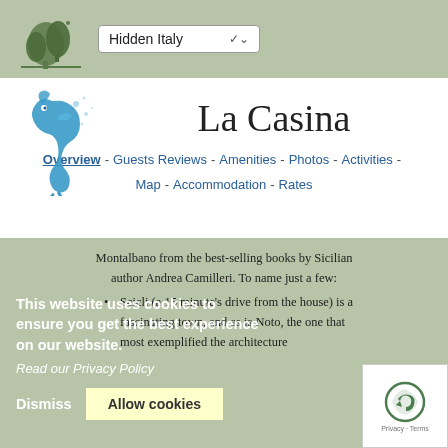Hidden Italy
[Figure (logo): Seahorse logo for La Casina property]
La Casina
Overview - Guests Reviews - Amenities - Photos - Activities - Map - Accommodation - Rates
Montalbano from the best-selling books by Sicilian author Andrea Camilleri. To name just a few:
Scicli (a 15 minute's drive from the house) is a fascinating town, as is Noto, the one that most exemplified the architecture of the...
This website uses cookies to ensure you get the best experience on our website. Read our Privacy Policy
Dismiss   Allow cookies